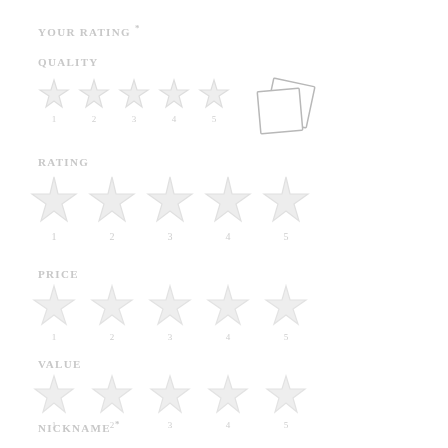Your Rating *
Quality
[Figure (illustration): Five star rating icons for Quality, faded/light gray watermark style, with two overlapping photo frame squares icon overlay]
Rating
[Figure (illustration): Five star rating icons for Rating, faded/light gray watermark style, larger stars]
Price
[Figure (illustration): Five star rating icons for Price, faded/light gray watermark style]
Value
[Figure (illustration): Five star rating icons for Value, faded/light gray watermark style]
Nickname *